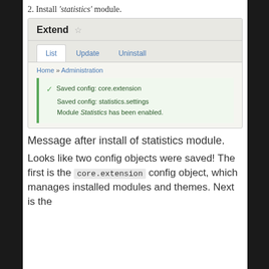2. Install 'statistics' module.
[Figure (screenshot): Drupal Extend admin page screenshot showing List/Update/Uninstall tabs, breadcrumb Home > Administration, and a green success box with messages: checkmark Saved config: core.extension, Saved config: statistics.settings, Module Statistics has been enabled.]
Message after install of statistics module.
Looks like two config objects were saved! The first is the core.extension config object, which manages installed modules and themes. Next is the